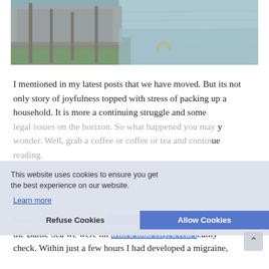[Figure (photo): Outdoor waterfront scene with wooden dock/pier structure on grassy bank beside calm water, with thin vertical poles/posts visible and a yellow horseshoe-shaped object near the water's edge.]
I mentioned in my latest posts that we have moved. But its not only story of joyfulness topped with stress of packing up a household. It is more a continuing struggle and some legal issues on the horizon. So what happened you may wonder. Well, grab a coffee or coffee or tea and continue reading.
This website uses cookies to ensure you get the best experience on our website.
Learn more
Refuse Cookies
Allow Cookies
When we returned from our vacation in summer 2021 from the Baltic Sea we were hit with a loud city, a real reality check. Within just a few hours I had developed a migraine,
My ♡ experience because of the noise and — find the city